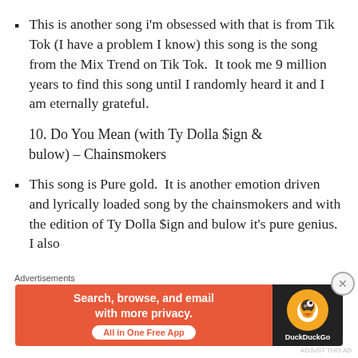This is another song i'm obsessed with that is from Tik Tok (I have a problem I know) this song is the song from the Mix Trend on Tik Tok.  It took me 9 million years to find this song until I randomly heard it and I am eternally grateful.
10. Do You Mean (with Ty Dolla $ign & bulow) – Chainsmokers
This song is Pure gold.  It is another emotion driven and lyrically loaded song by the chainsmokers and with the edition of Ty Dolla $ign and bulow it's pure genius.  I also
Advertisements
[Figure (infographic): DuckDuckGo advertisement banner: orange background with text 'Search, browse, and email with more privacy. All in One Free App' and DuckDuckGo logo on dark background.]